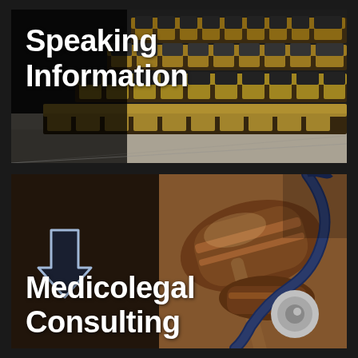[Figure (photo): Auditorium or lecture hall with rows of wooden/orange seats and black chairs, dark background]
Speaking Information
[Figure (photo): Judge's gavel and stethoscope on a wooden surface, representing medicolegal topics]
Medicolegal Consulting